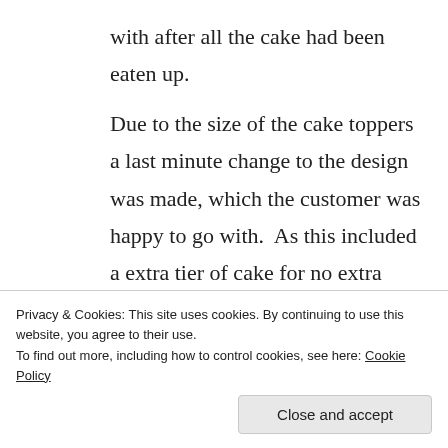with after all the cake had been eaten up.

Due to the size of the cake toppers a last minute change to the design was made, which the customer was happy to go with.  As this included a extra tier of cake for no extra charge I did a vanilla sponge as the birthday girl had
Privacy & Cookies: This site uses cookies. By continuing to use this website, you agree to their use.
To find out more, including how to control cookies, see here: Cookie Policy